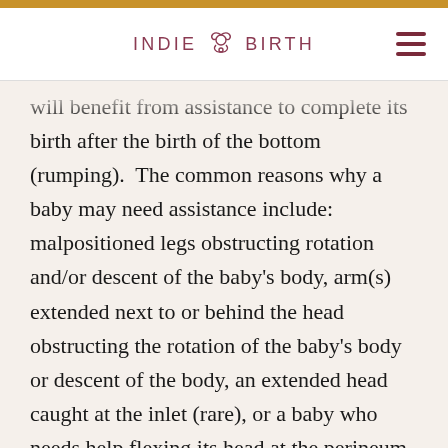INDIE BIRTH
will benefit from assistance to complete its birth after the birth of the bottom (rumping).  The common reasons why a baby may need assistance include: malpositioned legs obstructing rotation and/or descent of the baby's body, arm(s) extended next to or behind the head obstructing the rotation of the baby's body or descent of the body, an extended head caught at the inlet (rare), or a baby who needs help flexing its head at the perineum for it's